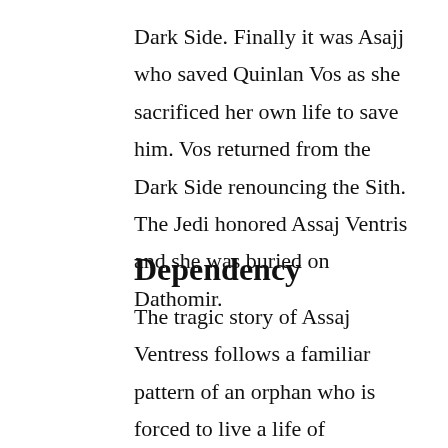Dark Side. Finally it was Asajj who saved Quinlan Vos as she sacrificed her own life to save him. Vos returned from the Dark Side renouncing the Sith. The Jedi honored Assaj Ventris and she was buried on Dathomir.
Dependency
The tragic story of Assaj Ventress follows a familiar pattern of an orphan who is forced to live a life of codependency and abuse. Things could easily have been different but fate played her a cruel hand. In the end her